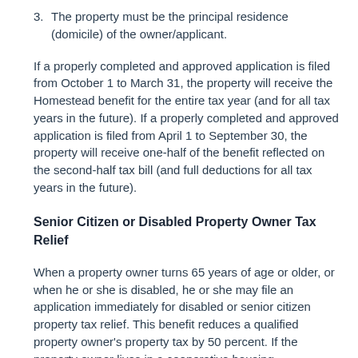3. The property must be the principal residence (domicile) of the owner/applicant.
If a properly completed and approved application is filed from October 1 to March 31, the property will receive the Homestead benefit for the entire tax year (and for all tax years in the future). If a properly completed and approved application is filed from April 1 to September 30, the property will receive one-half of the benefit reflected on the second-half tax bill (and full deductions for all tax years in the future).
Senior Citizen or Disabled Property Owner Tax Relief
When a property owner turns 65 years of age or older, or when he or she is disabled, he or she may file an application immediately for disabled or senior citizen property tax relief. This benefit reduces a qualified property owner's property tax by 50 percent. If the property owner lives in a cooperative housing association, the cooperative will supply and collect the applications. The following guidelines apply: